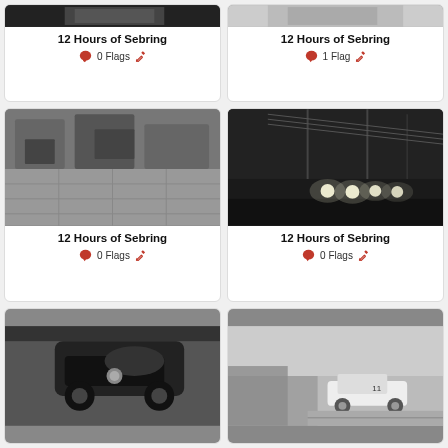[Figure (photo): Black and white photo partial top - 12 Hours of Sebring]
12 Hours of Sebring
0 Flags
[Figure (photo): Black and white photo partial top - 12 Hours of Sebring]
12 Hours of Sebring
1 Flag
[Figure (photo): Black and white photo of crowd/race scene - 12 Hours of Sebring]
12 Hours of Sebring
0 Flags
[Figure (photo): Dark night photo with headlights and power lines - 12 Hours of Sebring]
12 Hours of Sebring
0 Flags
[Figure (photo): Black and white photo of race car from above - 12 Hours of Sebring]
[Figure (photo): Black and white photo of race cars on track with crowd - 12 Hours of Sebring]